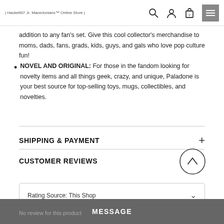| Hackett07 Jr. Macedonians™ Online Store |
addition to any fan's set. Give this cool collector's merchandise to moms, dads, fans, grads, kids, guys, and gals who love pop culture fun!
NOVEL AND ORIGINAL: For those in the fandom looking for novelty items and all things geek, crazy, and unique, Paladone is your best source for top-selling toys, mugs, collectibles, and novelties.
SHIPPING & PAYMENT
CUSTOMER REVIEWS
Rating Source: This Shop
MESSAGE
No review for this product